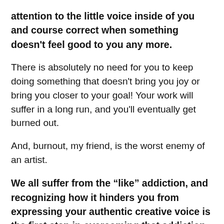attention to the little voice inside of you and course correct when something doesn't feel good to you any more.
There is absolutely no need for you to keep doing something that doesn't bring you joy or bring you closer to your goal! Your work will suffer in a long run, and you'll eventually get burned out.
And, burnout, my friend, is the worst enemy of an artist.
We all suffer from the “like” addiction, and recognizing how it hinders you from expressing your authentic creative voice is the first step in overcoming that addiction.
Now, go do your thing 🙂 The world needs you to keep creating the things only you can!